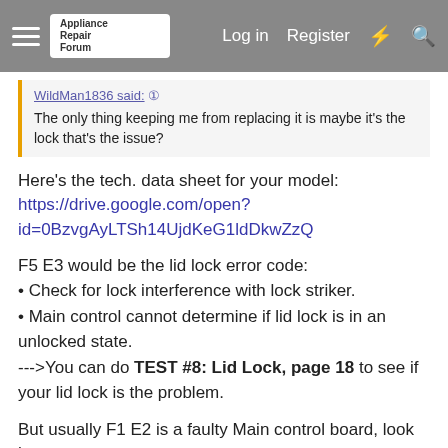Log in   Register
WildMan1836 said: ↑
The only thing keeping me from replacing it is maybe it's the lock that's the issue?
Here's the tech. data sheet for your model:
https://drive.google.com/open?id=0BzvgAyLTSh14UjdKeG1ldDkwZzQ
F5 E3 would be the lid lock error code:
• Check for lock interference with lock striker.
• Main control cannot determine if lid lock is in an unlocked state.
--->You can do TEST #8: Lid Lock, page 18 to see if your lid lock is the problem.
But usually F1 E2 is a faulty Main control board, look here:
FIXED - MVWX600XW0 Maytag Bravos washer- will not wa...
This washer is confusing to work on. Here are the symptoms: When loading a full load the washer aborts in sensing mode. It will lid lock then basket spins